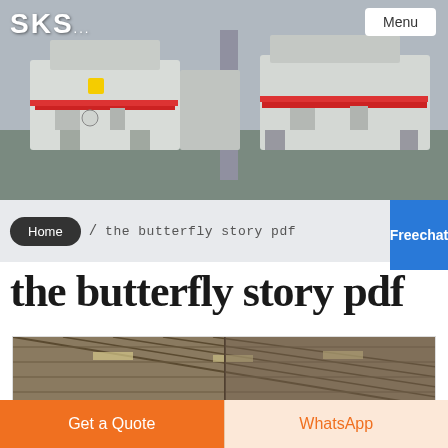[Figure (photo): Industrial machinery/crushers in a factory warehouse setting, SKS logo top left, Menu button top right]
SKS
Menu
Home / the butterfly story pdf
Free chat
the butterfly story pdf
[Figure (photo): Interior of an industrial warehouse/factory with steel roof structure]
Get a Quote
WhatsApp